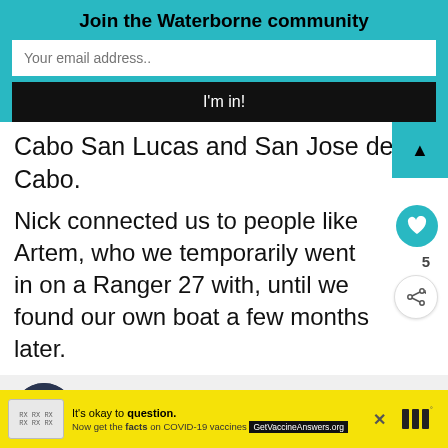Join the Waterborne community
Your email address..
I'm in!
Cabo San Lucas and San Jose del Cabo.
Nick connected us to people like Artem, who we temporarily went in on a Ranger 27 with, until we found our own boat a few months later.
WHAT'S NEXT → 100 sailing instagram...
It's okay to question. Now get the facts on COVID-19 vaccines GetVaccineAnswers.org